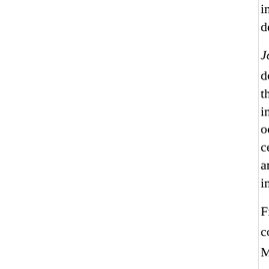in the 1930s into acceptance of the "quality environment" that determines all artistic exp...
<i>Jotham's Island</i>, painted soon after h... "one of the best pictures I have done."<sup>...</sup> altogether a new genre for him Hartley's few... his first use of the marine as a subject—his ... sustained thematic treatment. Here, as in th... href="http://accessaddison.andover.edu/Obj... </i> (the framing of ocean and island by a w... a device Hartley had tried in paintings that d... certain expressive possibilities existed for a... rendering the landscape and cloud formation... relatively undifferentiated, abstract shapes, ... inventive thrust of his painting.
From 1937 until his death in 1943, Hartley s... Maine. His renewed connection with what he... perhaps brutal country,"<sup>7</sup> spaw... Elizabeth McCausland believe "freed him fro... styles."<sup>8</sup> For all the unrest caus...